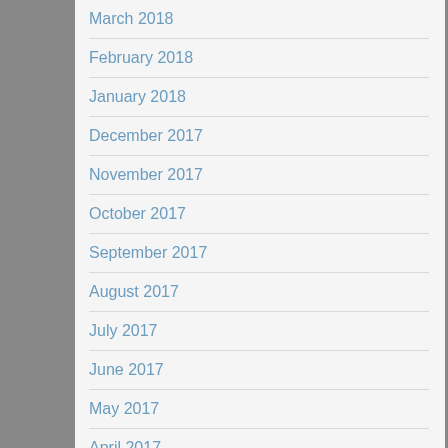March 2018
February 2018
January 2018
December 2017
November 2017
October 2017
September 2017
August 2017
July 2017
June 2017
May 2017
April 2017
March 2017